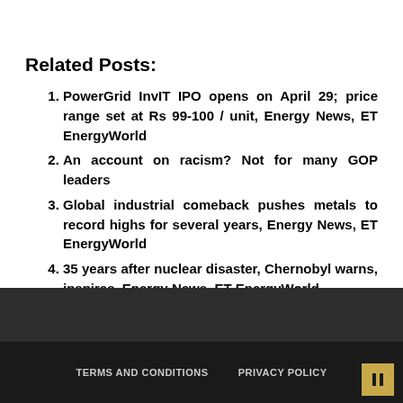Related Posts:
PowerGrid InvIT IPO opens on April 29; price range set at Rs 99-100 / unit, Energy News, ET EnergyWorld
An account on racism? Not for many GOP leaders
Global industrial comeback pushes metals to record highs for several years, Energy News, ET EnergyWorld
35 years after nuclear disaster, Chernobyl warns, inspires, Energy News, ET EnergyWorld
TERMS AND CONDITIONS   PRIVACY POLICY